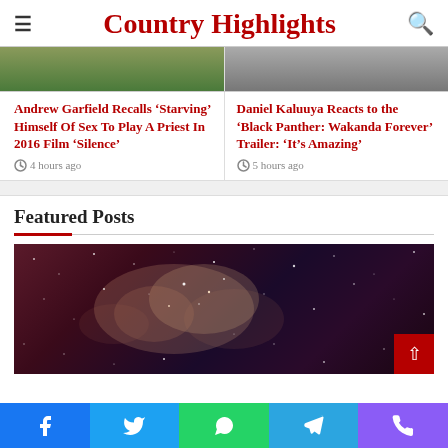Country Highlights
[Figure (screenshot): Top image strip - left side showing green/nature tones, right side showing grey tones]
Andrew Garfield Recalls ‘Starving’ Himself Of Sex To Play A Priest In 2016 Film ‘Silence’
4 hours ago
Daniel Kaluuya Reacts to the ‘Black Panther: Wakanda Forever’ Trailer: ‘It’s Amazing’
5 hours ago
Featured Posts
[Figure (photo): Space/galaxy image with stars and nebula clouds in dark red and purple tones]
[Figure (infographic): Social media sharing bar with Facebook, Twitter, WhatsApp, Telegram, and Phone icons]